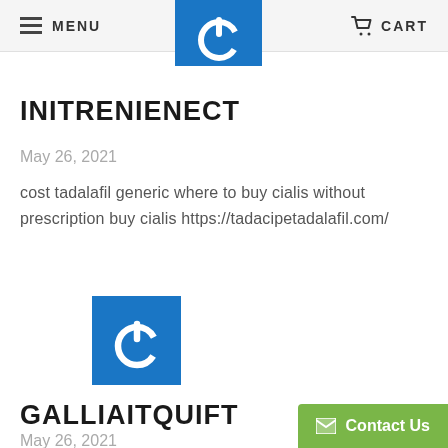MENU   CART
[Figure (logo): Blue square logo with white power button icon, partially visible at top]
INITRENIENECT
May 26, 2021
cost tadalafil generic where to buy cialis without prescription buy cialis https://tadacipetadalafil.com/
[Figure (logo): Blue square logo with white power button icon]
GALLIAITQUIFT
May 26, 2021